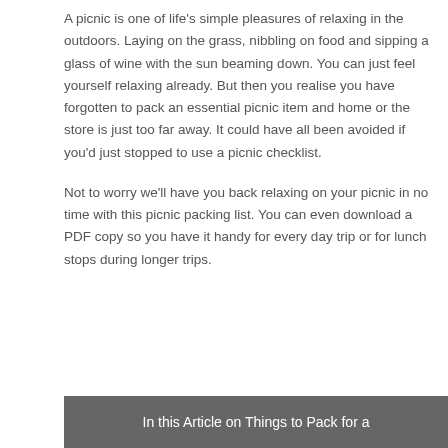A picnic is one of life's simple pleasures of relaxing in the outdoors. Laying on the grass, nibbling on food and sipping a glass of wine with the sun beaming down. You can just feel yourself relaxing already. But then you realise you have forgotten to pack an essential picnic item and home or the store is just too far away. It could have all been avoided if you'd just stopped to use a picnic checklist.
Not to worry we'll have you back relaxing on your picnic in no time with this picnic packing list. You can even download a PDF copy so you have it handy for every day trip or for lunch stops during longer trips.
In this Article on Things to Pack for a